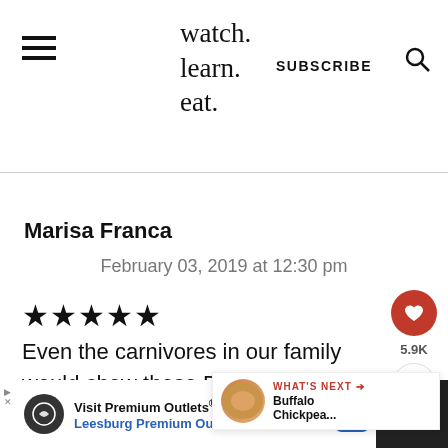watch. learn. eat. | SUBSCRIBE
Marisa Franca
February 03, 2019 at 12:30 pm
★★★★★
Even the carnivores in our family would chow these Buffalo meatballs down. They are h... Frank's Hot Sauce fans and I even
[Figure (other): What's Next panel showing Buffalo Chickpea... thumbnail]
[Figure (other): Advertisement banner for Visit Premium Outlets / Leesburg Premium Outlets]